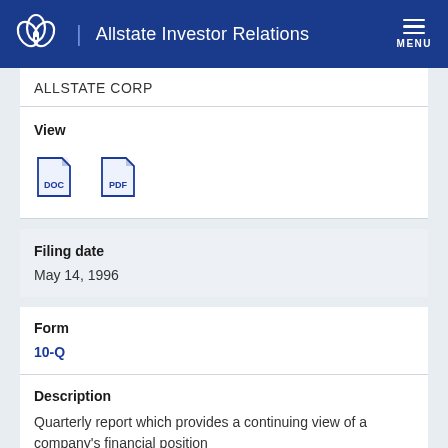Allstate Investor Relations | MENU
ALLSTATE CORP
View
[Figure (other): DOC and PDF file download icons]
Filing date
May 14, 1996
Form
10-Q
Description
Quarterly report which provides a continuing view of a company's financial position